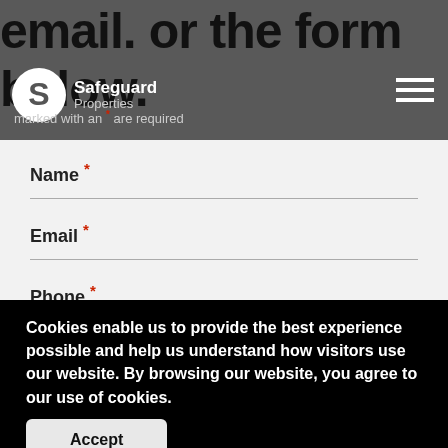email. or the form below.
[Figure (logo): Safeguard Properties logo — white circular S mark with 'Safeguard Properties' text]
marked with an * are required
Name *
Email *
Phone *
Cookies enable us to provide the best experience possible and help us understand how visitors use our website. By browsing our website, you agree to our use of cookies.
Accept